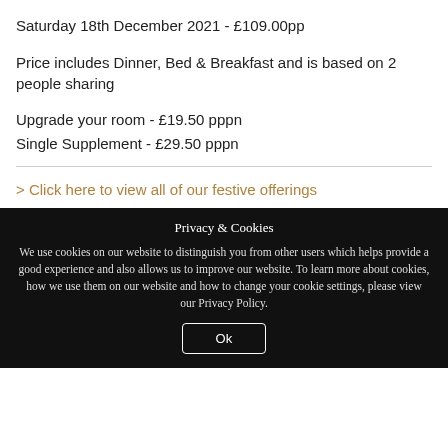Saturday 18th December 2021 - £109.00pp
Price includes Dinner, Bed & Breakfast and is based on 2 people sharing
Upgrade your room - £19.50 pppn
Single Supplement - £29.50 pppn
> Click here to view all of our festive offerings
Privacy & Cookies
We use cookies on our website to distinguish you from other users which helps provide a good experience and also allows us to improve our website. To learn more about cookies, how we use them on our website and how to change your cookie settings, please view our Privacy Policy.
Ok